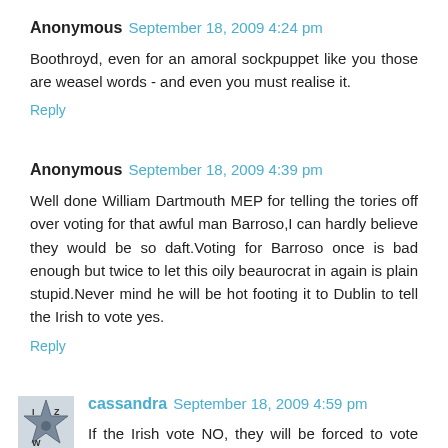Anonymous September 18, 2009 4:24 pm
Boothroyd, even for an amoral sockpuppet like you those are weasel words - and even you must realise it.
Reply
Anonymous September 18, 2009 4:39 pm
Well done William Dartmouth MEP for telling the tories off over voting for that awful man Barroso,I can hardly believe they would be so daft.Voting for Barroso once is bad enough but twice to let this oily beaurocrat in again is plain stupid.Never mind he will be hot footing it to Dublin to tell the Irish to vote yes.
Reply
cassandra September 18, 2009 4:59 pm
If the Irish vote NO, they will be forced to vote again...and....again untill the EU gets what it wants, its the